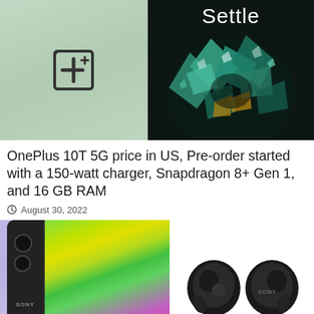[Figure (photo): OnePlus 10T 5G smartphone shown from the back (mint green) on the left and front with colorful splash/explosion graphic and 'Settle' text on the right against a dark background]
OnePlus 10T 5G price in US, Pre-order started with a 150-watt charger, Snapdragon 8+ Gen 1, and 16 GB RAM
August 30, 2022
[Figure (photo): Sony smartphone shown from the front with a colorful gradient screen (green, yellow, pink) and dual camera on the back visible on the left side]
[Figure (photo): Sony wireless earbuds (black) shown as a pair of true wireless earphones]